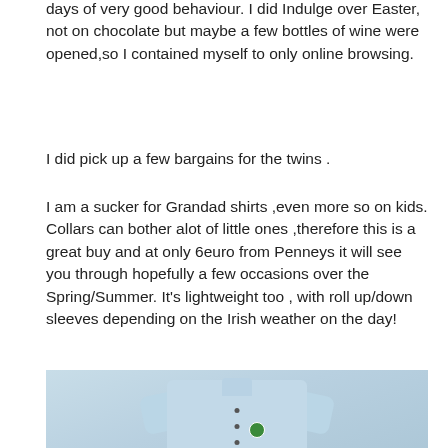days of very good behaviour. I did Indulge over Easter, not on chocolate but maybe a few bottles of wine were opened,so I contained myself to only online browsing.
I did pick up a few bargains for the twins .
I am a sucker for Grandad shirts ,even more so on kids. Collars can bother alot of little ones ,therefore this is a great buy and at only 6euro from Penneys it will see you through hopefully a few occasions over the Spring/Summer. It’s lightweight too , with roll up/down sleeves depending on the Irish weather on the day!
[Figure (photo): Photo of a light blue grandad-collar shirt laid flat, showing the collarless neckline with small dark buttons down the front and roll-up sleeves, with a small green badge/logo on the chest. Background appears to be a floral surface.]